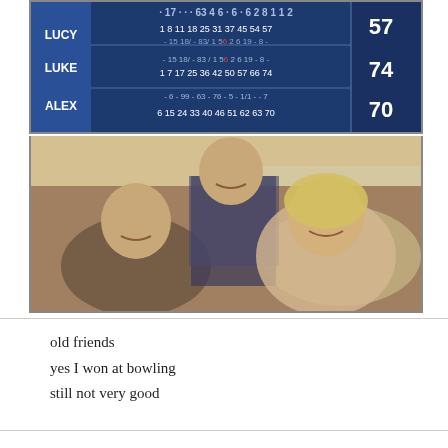[Figure (photo): Bowling scoreboard showing three players: LUCY (score 57), LUKE (score 74), ALEX (score 70) with their running frame scores visible]
[Figure (photo): Selfie photo of three young people smiling at a bowling alley - a young man on the left, a taller man in a plaid shirt standing behind, and a blonde woman on the right]
old friends
yes I won at bowling
still not very good